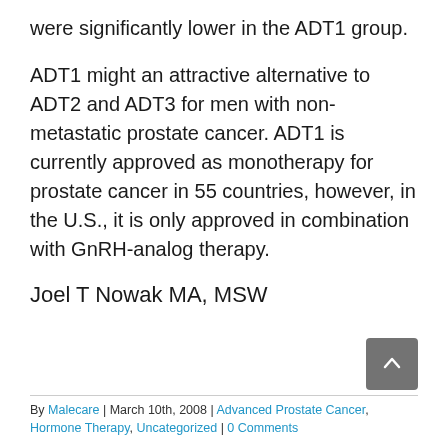were significantly lower in the ADT1 group.
ADT1 might an attractive alternative to ADT2 and ADT3 for men with non-metastatic prostate cancer. ADT1 is currently approved as monotherapy for prostate cancer in 55 countries, however, in the U.S., it is only approved in combination with GnRH-analog therapy.
Joel T Nowak MA, MSW
By Malecare | March 10th, 2008 | Advanced Prostate Cancer, Hormone Therapy, Uncategorized | 0 Comments